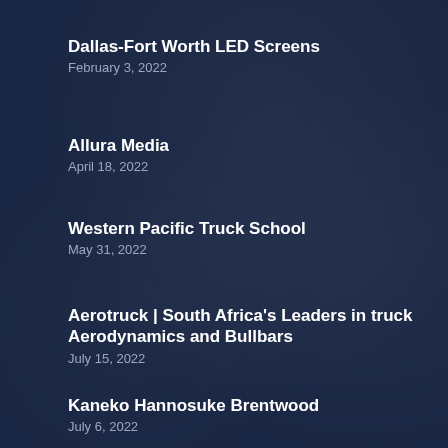Dallas-Fort Worth LED Screens
February 3, 2022
Allura Media
April 18, 2022
Western Pacific Truck School
May 31, 2022
Aerotruck | South Africa's Leaders in truck Aerodynamics and Bullbars
July 15, 2022
Kaneko Hannosuke Brentwood
July 6, 2022